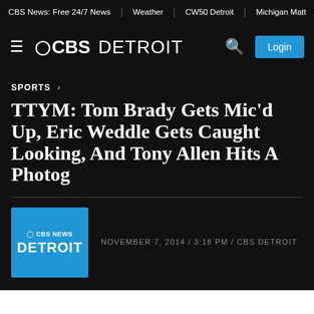CBS News: Free 24/7 News | Weather | CW50 Detroit | Michigan Matt
[Figure (logo): CBS Detroit logo with hamburger menu, search icon, and Login button on dark background]
SPORTS ›
TTYM: Tom Brady Gets Mic'd Up, Eric Weddle Gets Caught Looking, And Tony Allen Hits A Photog
NOVEMBER 7, 2014 / 3:18 PM / CBS DETROIT
[Figure (logo): CBS News Detroit blue square logo]
[Figure (photo): Partial red banner at bottom of page, partially cut off]